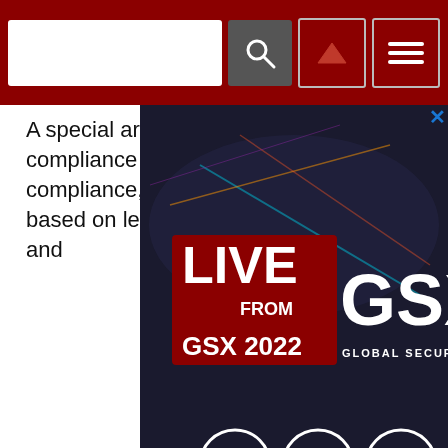[Search bar with navigation icons on dark red header]
A special area of compliance is IT security compliance, which is based on legal provisions and
[Figure (screenshot): Advertisement for GSX 2022 Global Security Exchange - Live From GSX 2022 with social media icons and securitytoday.com/live URL on dark background]
international standards. Geographic borders become blurred, however, in the provision of cloud services, making it impossible to regulate the sector solely based on local regulations. This calls for international IT security standards, such as PCI DSS, ISO:27001, or